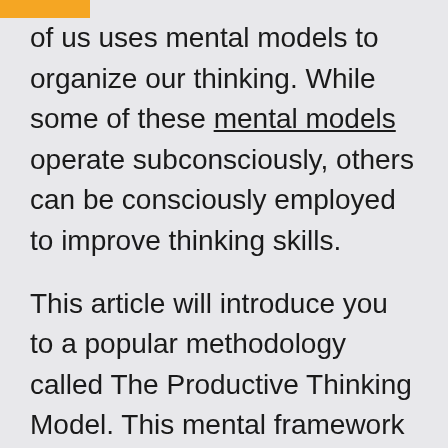of us uses mental models to organize our thinking. While some of these mental models operate subconsciously, others can be consciously employed to improve thinking skills.
This article will introduce you to a popular methodology called The Productive Thinking Model. This mental framework offers a structured approach to solving problems or generating creative ideas. Let's take a look.
About the productive thinking model